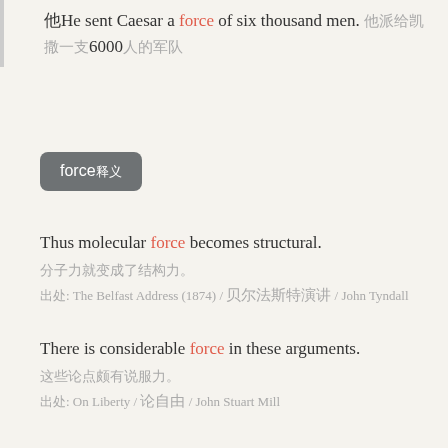他He sent Caesar a force of six thousand men. 他派给凯撒一支6000人的军队
force释义
Thus molecular force becomes structural. 分子力就变成了结构力。 出处: The Belfast Address (1874) / 贝尔法斯特演讲 / John Tyndall
There is considerable force in these arguments. 这些论点颇有说服力。 出处: On Liberty / 论自由 / John Stuart Mill